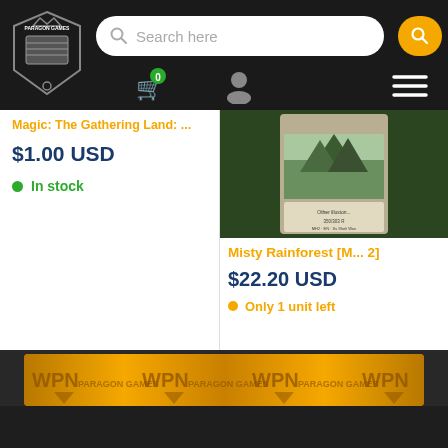[Figure (screenshot): Paragon Games website header with logo, search bar and navigation icons on dark background]
Magic: The Gathering Land: ...
$1.00 USD
In stock
[Figure (photo): Misty Rainforest MH2 card image]
Misty Rainforest [M... 2]
$22.20 USD
Only 1 unit left
[Figure (logo): WPN Paragon Games banner with repeating WPN and Paragon Games logos on golden background]